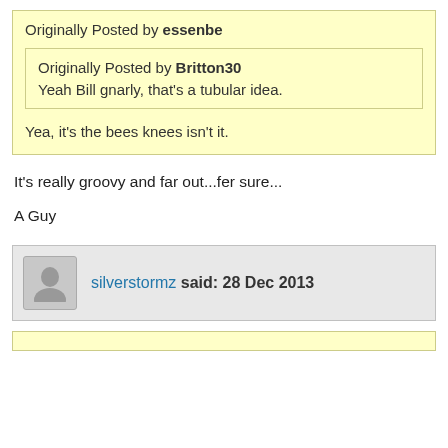Originally Posted by essenbe
Originally Posted by Britton30
Yeah Bill gnarly, that's a tubular idea.
Yea, it's the bees knees isn't it.
It's really groovy and far out...fer sure...
A Guy
silverstormz said: 28 Dec 2013